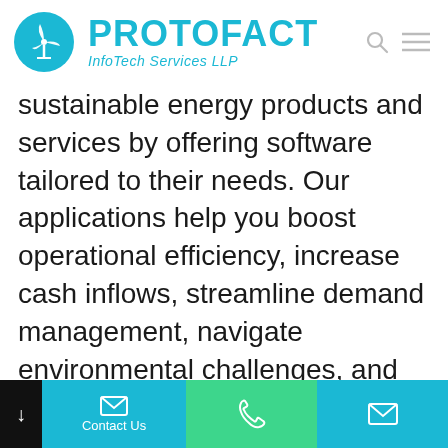Protofact InfoTech Services LLP
sustainable energy products and services by offering software tailored to their needs. Our applications help you boost operational efficiency, increase cash inflows, streamline demand management, navigate environmental challenges, and enhance regulatory compliance. By leveraging analytics, cloud, IoT, AI, machine learning, and automation
Contact Us | Phone | Email